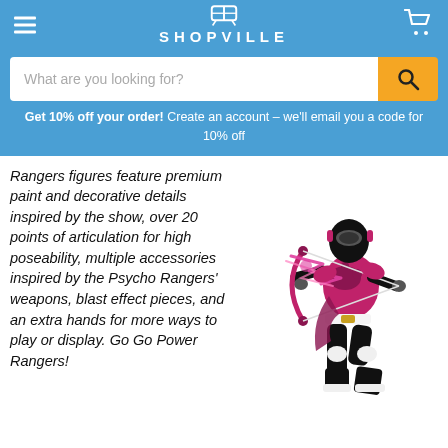SHOPVILLE
What are you looking for?
Get 10% off your order! Create an account – we'll email you a code for 10% off
Rangers figures feature premium paint and decorative details inspired by the show, over 20 points of articulation for high poseability, multiple accessories inspired by the Psycho Rangers' weapons, blast effect pieces, and an extra hands for more ways to play or display. Go Go Power Rangers!
[Figure (photo): A pink and black Power Rangers action figure in a dynamic pose holding a bow with pink lightning effect accessories]